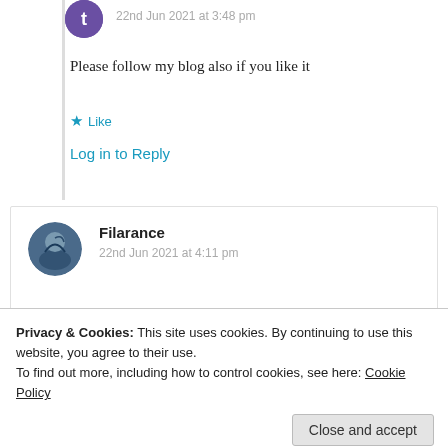22nd Jun 2021 at 3:48 pm
Please follow my blog also if you like it
★ Like
Log in to Reply
Filarance
22nd Jun 2021 at 4:11 pm
Privacy & Cookies: This site uses cookies. By continuing to use this website, you agree to their use.
To find out more, including how to control cookies, see here: Cookie Policy
Close and accept
beautiful and wonderful and sweet and kind words